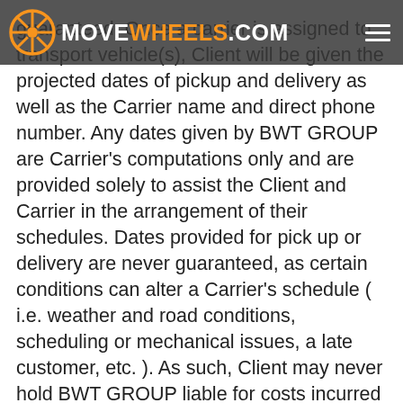MOVEWHEELS.COM
guaranteed. Once a carrier is assigned to transport vehicle(s), Client will be given the projected dates of pickup and delivery as well as the Carrier name and direct phone number. Any dates given by BWT GROUP are Carrier's computations only and are provided solely to assist the Client and Carrier in the arrangement of their schedules. Dates provided for pick up or delivery are never guaranteed, as certain conditions can alter a Carrier's schedule ( i.e. weather and road conditions, scheduling or mechanical issues, a late customer, etc. ). As such, Client may never hold BWT GROUP liable for costs incurred as the result of any delays, including (but not limited to) any car rental fees or accommodation fees for Client. Also, Client understands and agrees to make themselves and/or Client's designated agent(s) (hereinafter referred to as "Agent") available at all times necessary through phone,